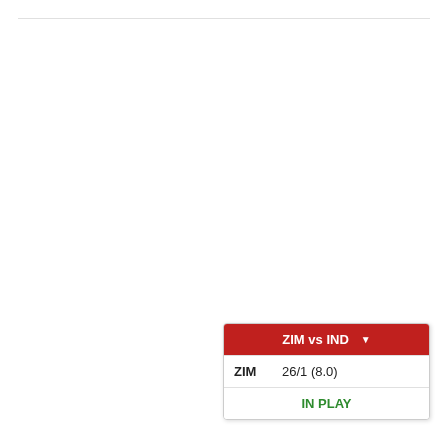| ZIM vs IND |  |
| --- | --- |
| ZIM | 26/1 (8.0) |
|  | IN PLAY |